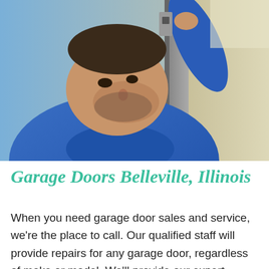[Figure (photo): A man in a blue uniform reaching up to work on a garage door mechanism, viewed from a low angle against a light background.]
Garage Doors Belleville, Illinois
When you need garage door sales and service, we're the place to call. Our qualified staff will provide repairs for any garage door, regardless of make or model. We'll provide our expert service to any commercial or